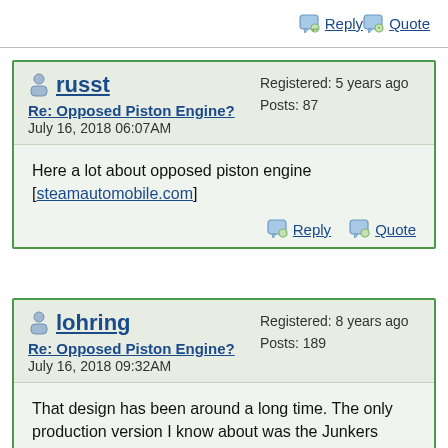Reply  Quote
russt
Re: Opposed Piston Engine?
July 16, 2018 06:07AM
Registered: 5 years ago
Posts: 87
Here a lot about opposed piston engine [steamautomobile.com]
Reply  Quote
lohring
Re: Opposed Piston Engine?
July 16, 2018 09:32AM
Registered: 8 years ago
Posts: 189
That design has been around a long time. The only production version I know about was the Junkers Jumo aircraft diesel. Modern versions were developed by Eco motors (see below) as well. None have succeeded both because diesels have become seriously unpopular (thanks VW) and because there hasn't been a pressing need to design new IC engines. The emissions and